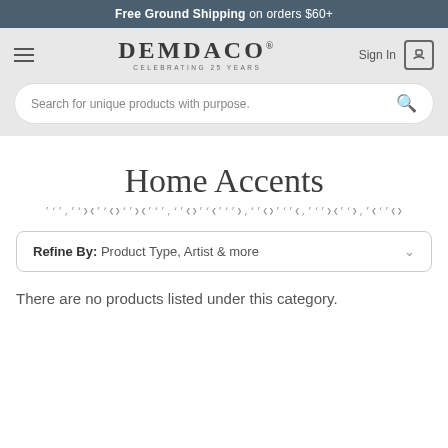Free Ground Shipping on orders $60+
[Figure (screenshot): DEMDACO logo with text 'CELEBRATING 25 YEARS', hamburger menu icon, Sign In text, and bag icon]
Search for unique products with purpose.
Home Accents
Refine By: Product Type, Artist & more
There are no products listed under this category.